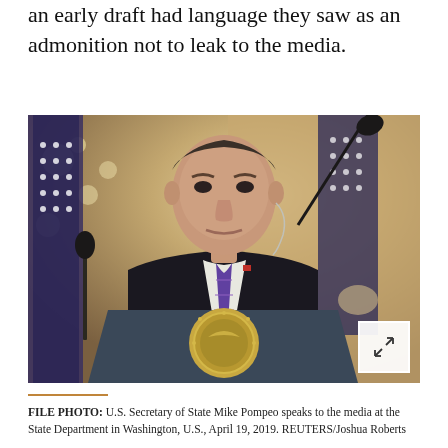an early draft had language they saw as an admonition not to leak to the media.
[Figure (photo): FILE PHOTO: U.S. Secretary of State Mike Pompeo speaking at a podium with the State Department seal, flanked by American flags, at a press conference in Washington D.C.]
FILE PHOTO: U.S. Secretary of State Mike Pompeo speaks to the media at the State Department in Washington, U.S., April 19, 2019. REUTERS/Joshua Roberts